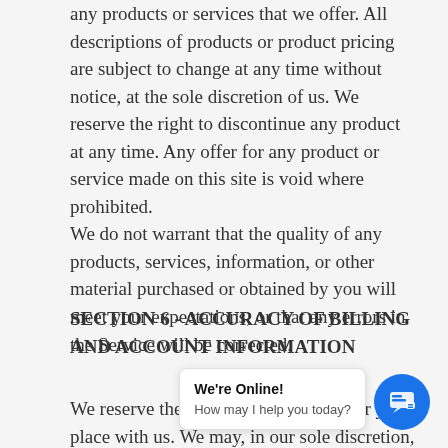any products or services that we offer. All descriptions of products or product pricing are subject to change at any time without notice, at the sole discretion of us. We reserve the right to discontinue any product at any time. Any offer for any product or service made on this site is void where prohibited.
We do not warrant that the quality of any products, services, information, or other material purchased or obtained by you will meet your expectations, or that any errors in the Service will be corrected.
SECTION 6 - ACCURACY OF BILLING AND ACCOUNT INFORMATION
We reserve the right to refuse any order you place with us. We may, in our sole discretion, limit or cancel quantities purchased per person, per household, or per order. These restrictions may include orders placed by or under the same customer account, the same credit card, and/or orders that use the same billing and/or shipping address. In the event that we make a change to or cancel an order, we may...